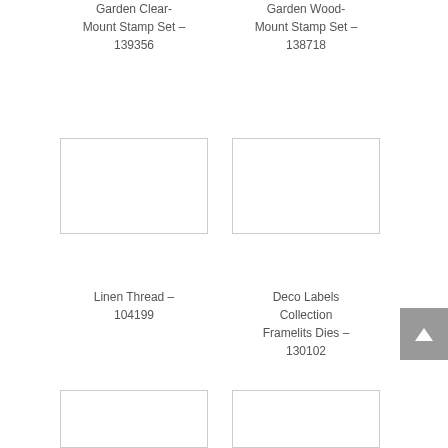Garden Clear-Mount Stamp Set – 139356
Garden Wood-Mount Stamp Set – 138718
[Figure (photo): Product image placeholder for Linen Thread – 104199]
Linen Thread – 104199
[Figure (photo): Product image placeholder for Deco Labels Collection Framelits Dies – 130102]
Deco Labels Collection Framelits Dies – 130102
[Figure (photo): Product image placeholder (bottom left, cropped)]
[Figure (photo): Product image placeholder (bottom right, cropped)]